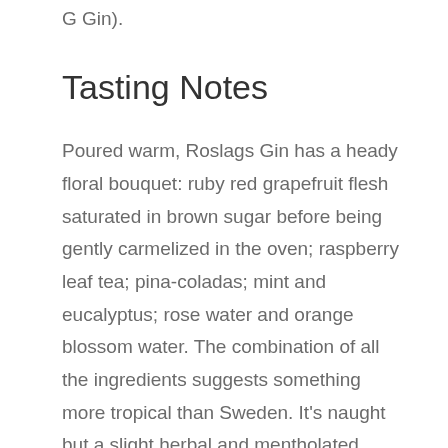G Gin).
Tasting Notes
Poured warm, Roslags Gin has a heady floral bouquet: ruby red grapefruit flesh saturated in brown sugar before being gently carmelized in the oven; raspberry leaf tea; pina-coladas; mint and eucalyptus; rose water and orange blossom water. The combination of all the ingredients suggests something more tropical than Sweden. It's naught but a slight herbal and mentholated note that suggests this might be gin.